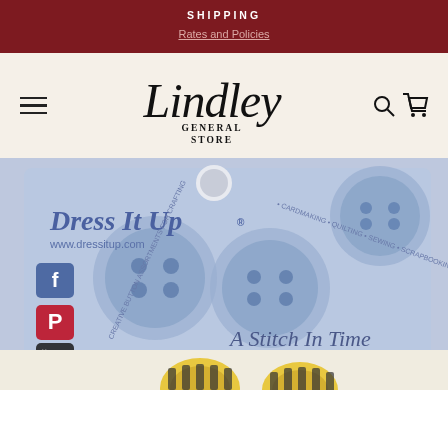SHIPPING
Rates and Policies
[Figure (logo): Lindley General Store logo with cursive script 'Lindley' and serif 'GENERAL STORE' below]
[Figure (photo): Dress It Up creative button assortments packaging card in light blue/periwinkle color showing decorative buttons, social media icons (Facebook, Pinterest, YouTube, WordPress), text 'www.dressitup.com', 'CREATIVE BUTTON ASSORTMENTS FOR CRAFTING • CARDMAKING • QUILTING • SEWING • SCRAPBOOKING', and 'A Stitch In Time' with a needle graphic. Below the card are partially visible yellow/black bee-themed buttons or items.]